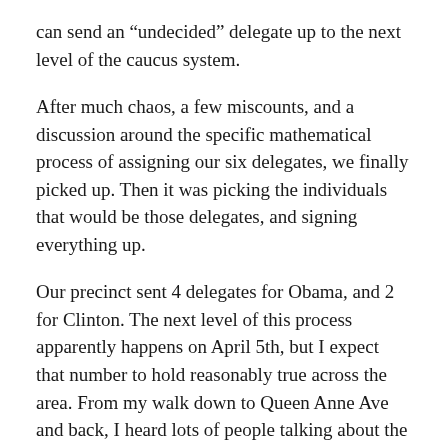can send an “undecided” delegate up to the next level of the caucus system.
After much chaos, a few miscounts, and a discussion around the specific mathematical process of assigning our six delegates, we finally picked up. Then it was picking the individuals that would be those delegates, and signing everything up.
Our precinct sent 4 delegates for Obama, and 2 for Clinton. The next level of this process apparently happens on April 5th, but I expect that number to hold reasonably true across the area. From my walk down to Queen Anne Ave and back, I heard lots of people talking about the caucus numbers, and there were a lot of “4 obama, 1 clinton” and “4 obama, 2 clinton” kinds of numbers being bandied about. I guess this city just leans towards being a